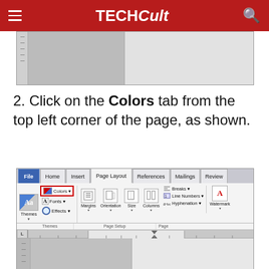TECHCult
[Figure (screenshot): Partial screenshot of Microsoft Word showing a split document view with grey background and white page area on right.]
2. Click on the Colors tab from the top left corner of the page, as shown.
[Figure (screenshot): Screenshot of Microsoft Word 2010 ribbon showing the Page Layout tab selected, with the Colors button highlighted in a red box. Ribbon shows File, Home, Insert, Page Layout, References, Mailings, Review tabs. Under Themes group: Themes, Colors (highlighted), Fonts, Effects buttons. Under Page Setup: Margins, Orientation, Size, Columns, Breaks, Line Numbers, Hyphenation, Watermark.]